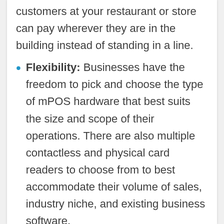customers at your restaurant or store can pay wherever they are in the building instead of standing in a line.
Flexibility: Businesses have the freedom to pick and choose the type of mPOS hardware that best suits the size and scope of their operations. There are also multiple contactless and physical card readers to choose from to best accommodate their volume of sales, industry niche, and existing business software.
Inventory Tracking: Whether you're at a mobile event trying to figure out